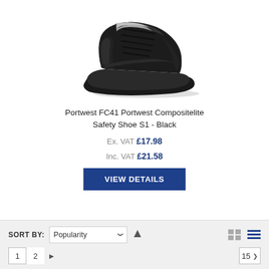[Figure (photo): Black Portwest FC41 Compositelite Safety Shoe viewed from side angle, showing lace-up style with composite toe cap and chunky sole]
Portwest FC41 Portwest Compositelite Safety Shoe S1 - Black
Ex. VAT £17.98
Inc. VAT £21.58
VIEW DETAILS
SORT BY: Popularity ↑
1 2 ▶  15